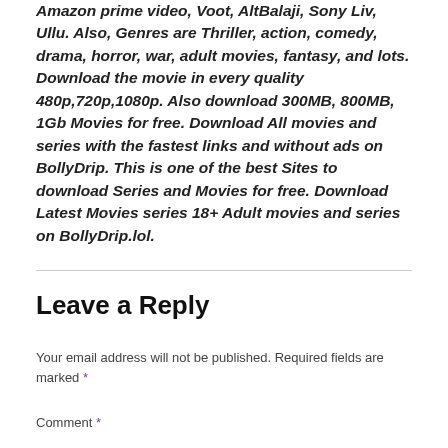Amazon prime video, Voot, AltBalaji, Sony Liv, Ullu. Also, Genres are Thriller, action, comedy, drama, horror, war, adult movies, fantasy, and lots. Download the movie in every quality 480p,720p,1080p. Also download 300MB, 800MB, 1Gb Movies for free. Download All movies and series with the fastest links and without ads on BollyDrip. This is one of the best Sites to download Series and Movies for free. Download Latest Movies series 18+ Adult movies and series on BollyDrip.lol.
Leave a Reply
Your email address will not be published. Required fields are marked *
Comment *